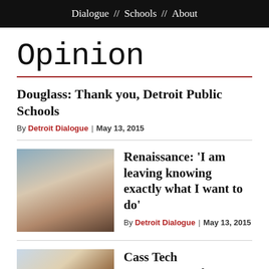Dialogue // Schools // About
Opinion
Douglass: Thank you, Detroit Public Schools
By Detroit Dialogue | May 13, 2015
[Figure (photo): Portrait photo of a young woman with glasses, smiling]
Renaissance: ‘I am leaving knowing exactly what I want to do’
By Detroit Dialogue | May 13, 2015
[Figure (photo): Photo of students in a classroom setting]
Cass Tech commentary: As